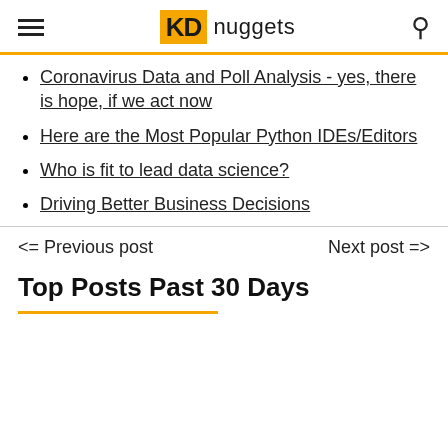KD nuggets
Coronavirus Data and Poll Analysis - yes, there is hope, if we act now
Here are the Most Popular Python IDEs/Editors
Who is fit to lead data science?
Driving Better Business Decisions
<= Previous post    Next post =>
Top Posts Past 30 Days